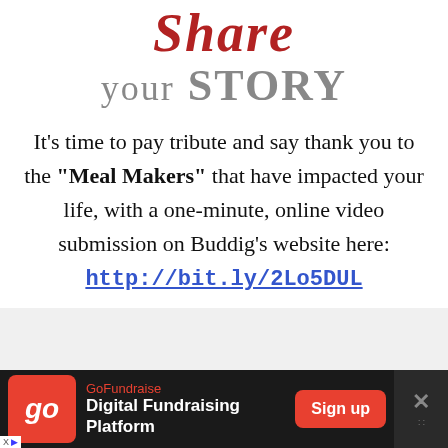Share your STORY
It's time to pay tribute and say thank you to the "Meal Makers" that have impacted your life, with a one-minute, online video submission on Buddig's website here: http://bit.ly/2Lo5DUL
[Figure (other): GoFundraise advertisement banner at bottom: logo, 'Digital Fundraising Platform' text, Sign up button, and close button]